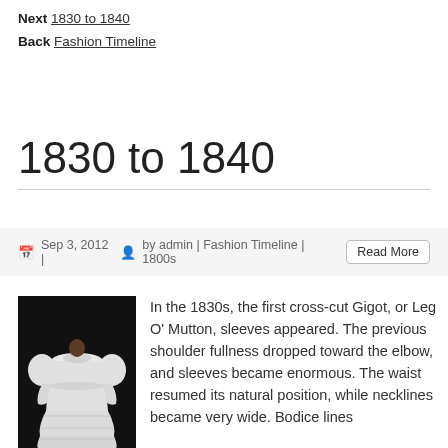Next 1830 to 1840
Back Fashion Timeline
1830 to 1840
Sep 3, 2012 | by admin | Fashion Timeline | 1800s  Read More
[Figure (photo): A white 1830s dress with large puffed sleeves and tiered skirt against a black background]
In the 1830s, the first cross-cut Gigot, or Leg O' Mutton, sleeves appeared. The previous shoulder fullness dropped toward the elbow, and sleeves became enormous. The waist resumed its natural position, while necklines became very wide. Bodice lines